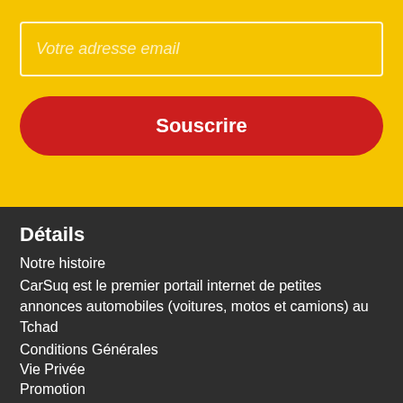Votre adresse email
Souscrire
Détails
Notre histoire
CarSuq est le premier portail internet de petites annonces automobiles (voitures, motos et camions) au Tchad
Conditions Générales
Vie Privée
Promotion